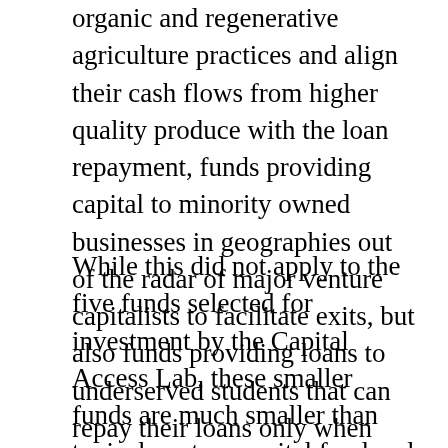organic and regenerative agriculture practices and align their cash flows from higher quality produce with the loan repayment, funds providing capital to minority owned businesses in geographies out of the radar of major venture capitalists to facilitate exits, but also funds providing loans to underserved students that can repay their loans only when they start generating income from actual employment.
While this did not apply to the five funds selected for investment by the Capital Access Lab, these smaller funds are much smaller than typical venture capital fund and CDFI, so small in fact that many are unlikely to cover their operating costs as a fund, and instead use the fund as an addition to existing community service programs.  These funds primarily target seed